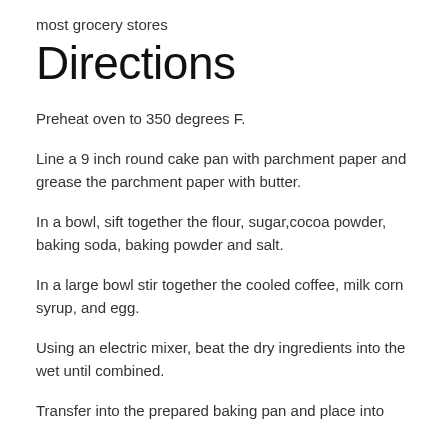most grocery stores
Directions
Preheat oven to 350 degrees F.
Line a 9 inch round cake pan with parchment paper and grease the parchment paper with butter.
In a bowl, sift together the flour, sugar,cocoa powder, baking soda, baking powder and salt.
In a large bowl stir together the cooled coffee, milk corn syrup, and egg.
Using an electric mixer, beat the dry ingredients into the wet until combined.
Transfer into the prepared baking pan and place into